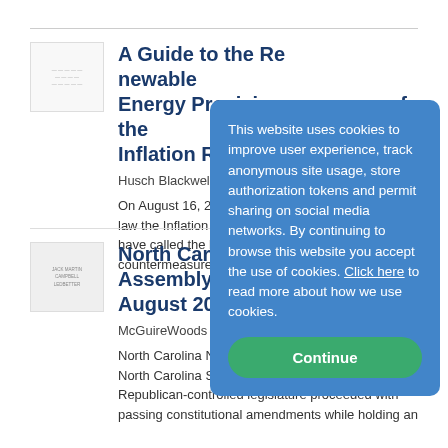[Figure (other): Thumbnail image placeholder for article 1]
A Guide to the Renewable Energy Provisions of the Inflation Reduction Act
Husch Blackwell LLP on 8/2...
On August 16, 2022, President Biden signed into law the Inflation Reduction Act (IRA), which many have called the largest investment in climate countermeasures in U.S. his...
[Figure (other): Thumbnail image placeholder for article 2, showing logos]
North Carolina General Assembly Week in Review August 2022 #4...
McGuireWoods Consulting o...
North Carolina News Round... North Carolina Supreme Co... Republican-controlled legislature proceeded with passing constitutional amendments while holding an
This website uses cookies to improve user experience, track anonymous site usage, store authorization tokens and permit sharing on social media networks. By continuing to browse this website you accept the use of cookies. Click here to read more about how we use cookies.